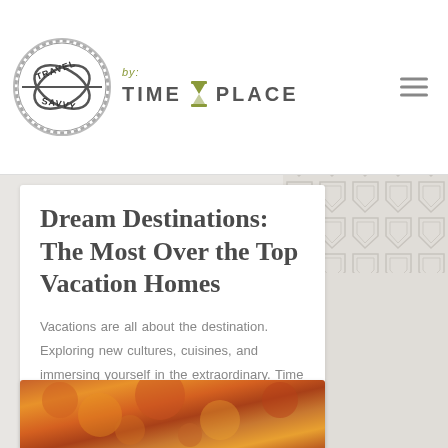Travel Savvy by: TIME & PLACE
Dream Destinations: The Most Over the Top Vacation Homes
Vacations are all about the destination. Exploring new cultures, cuisines, and immersing yourself in the extraordinary. Time & Place luxury vacation rentals [...]
September 24, 2015  ♥ 4  ● 0
[Figure (photo): Autumn foliage scene with orange and red leaves]